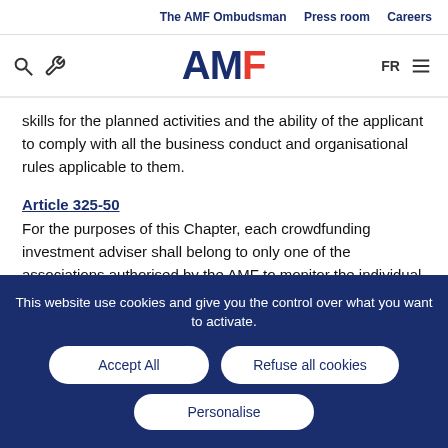The AMF Ombudsman  Press room  Careers
[Figure (logo): AMF logo with search and tool icons on left, FR and menu icon on right]
skills for the planned activities and the ability of the applicant to comply with all the business conduct and organisational rules applicable to them.
Article 325-50
For the purposes of this Chapter, each crowdfunding investment adviser shall belong to only one of the associations authorised by the AMF to monitor the individual professional activity of its member
This website use cookies and give you the control over what you want to activate.
Accept All
Refuse all cookies
Personalise